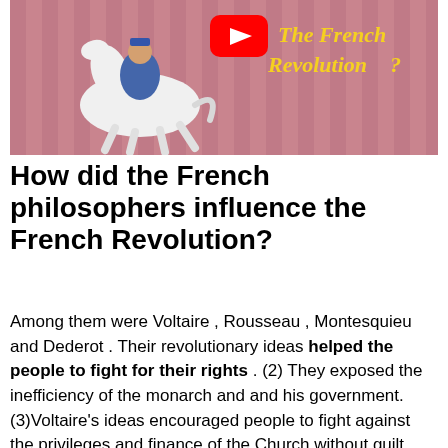[Figure (illustration): YouTube video thumbnail showing an illustrated figure riding a white horse on a pink/red striped background with a YouTube play button icon and text 'The French Revolution?' in yellow italic script]
How did the French philosophers influence the French Revolution?
Among them were Voltaire , Rousseau , Montesquieu and Dederot . Their revolutionary ideas helped the people to fight for their rights . (2) They exposed the inefficiency of the monarch and and his government. (3)Voltaire's ideas encouraged people to fight against the privileges and finance of the Church without guilt.